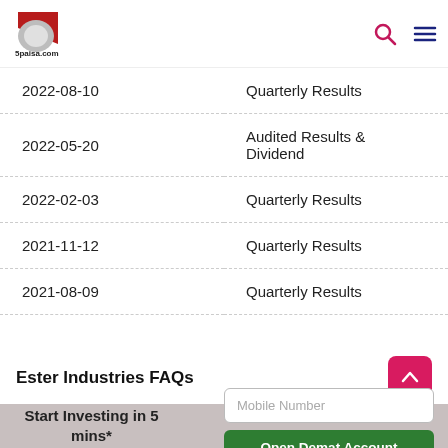5paisa.com
| Date | Type |
| --- | --- |
| 2022-08-10 | Quarterly Results |
| 2022-05-20 | Audited Results & Dividend |
| 2022-02-03 | Quarterly Results |
| 2021-11-12 | Quarterly Results |
| 2021-08-09 | Quarterly Results |
Ester Industries FAQs
Start Investing in 5 mins*
Mobile Number
Open Demat Account